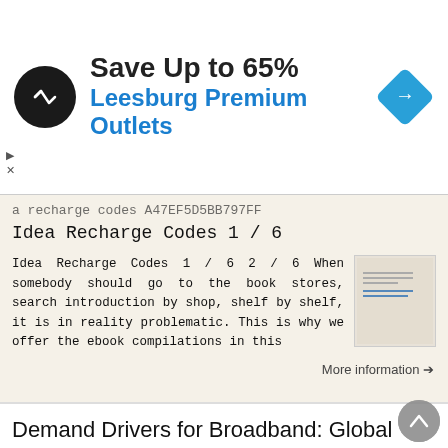[Figure (screenshot): Advertisement banner: 'Save Up to 65% Leesburg Premium Outlets' with circular dark logo and blue diamond navigation icon]
a recharge codes A47EF5D5BB797FF
Idea Recharge Codes 1 / 6
Idea Recharge Codes 1 / 6 2 / 6 When somebody should go to the book stores, search introduction by shop, shelf by shelf, it is in reality problematic. This is why we offer the ebook compilations in this
More information →
Demand Drivers for Broadband: Global Experience and Learnings for India
Demand Drivers for Broadband: Global Experience and Learnings for India National Broadband Initiative Workshop 16 th April 2019 Influencing points in Internet of